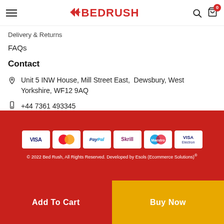BedRush header with hamburger menu, logo, search and cart icons
Delivery & Returns
FAQs
Contact
Unit 5 INW House, Mill Street East, Dewsbury, West Yorkshire, WF12 9AQ
+44 7361 493345
sales@bedrush.co.uk
[Figure (infographic): Payment method icons: Visa, MasterCard, PayPal, Skrill, Maestro, Visa Electron on red background]
© 2022 Bed Rush, All Rights Reserved. Developed by Esols (Ecommerce Solutions)®
Add To Cart
Buy Now